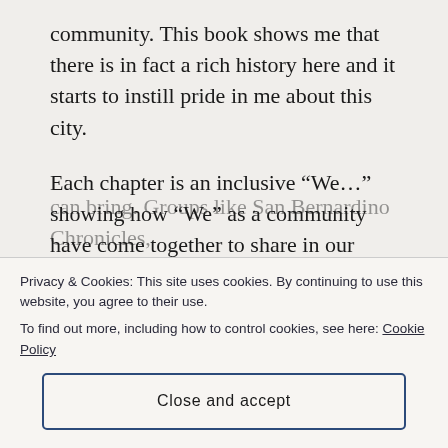community. This book shows me that there is in fact a rich history here and it starts to instill pride in me about this city.
Each chapter is an inclusive “We…” showing how “We” as a community have come together to share in our victories and rally when we have setbacks. In the Chapter “We Connect,” we get to the all the groups that have provided needed information and solidarity. The backbones of our community that keeps us strong and focused on the changes that we
Privacy & Cookies: This site uses cookies. By continuing to use this website, you agree to their use.
To find out more, including how to control cookies, see here: Cookie Policy
Close and accept